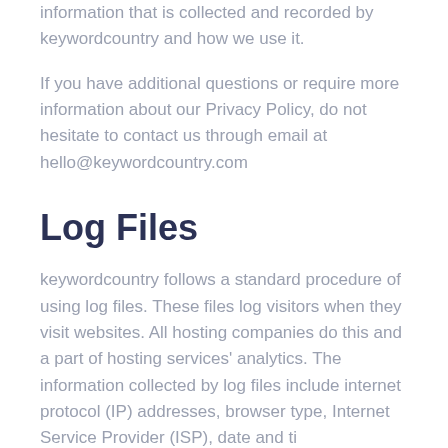information that is collected and recorded by keywordcountry and how we use it.
If you have additional questions or require more information about our Privacy Policy, do not hesitate to contact us through email at hello@keywordcountry.com
Log Files
keywordcountry follows a standard procedure of using log files. These files log visitors when they visit websites. All hosting companies do this and a part of hosting services' analytics. The information collected by log files include internet protocol (IP) addresses, browser type, Internet Service Provider (ISP), date and time